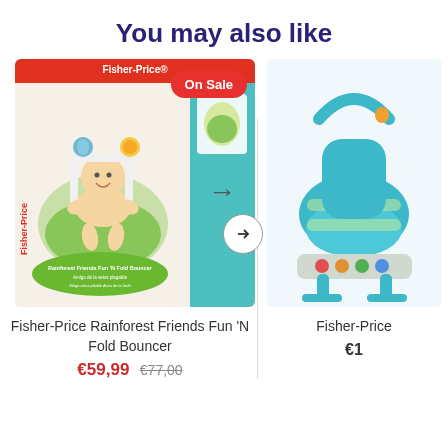You may also like
[Figure (photo): Fisher-Price Rainforest Friends Fun 'N Fold Bouncer product box showing a baby in a bouncer seat with colorful animal toys, with an 'On Sale' red badge overlay]
[Figure (photo): Fisher-Price baby product in teal/blue and green colors, partially visible on the right side of the page]
Fisher-Price Rainforest Friends Fun 'N Fold Bouncer
€59,99 €77,00
Fisher-Price
€1